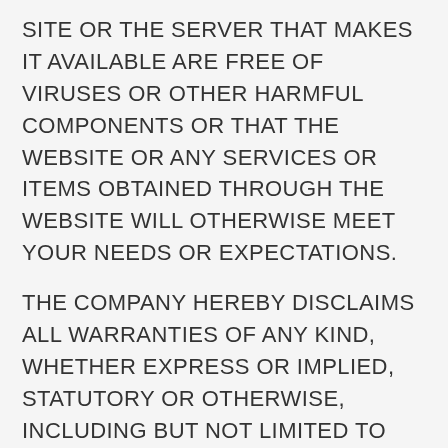SITE OR THE SERVER THAT MAKES IT AVAILABLE ARE FREE OF VIRUSES OR OTHER HARMFUL COMPONENTS OR THAT THE WEBSITE OR ANY SERVICES OR ITEMS OBTAINED THROUGH THE WEBSITE WILL OTHERWISE MEET YOUR NEEDS OR EXPECTATIONS.
THE COMPANY HEREBY DISCLAIMS ALL WARRANTIES OF ANY KIND, WHETHER EXPRESS OR IMPLIED, STATUTORY OR OTHERWISE, INCLUDING BUT NOT LIMITED TO ANY WARRANTIES OF MERCHANTABILITY, NON-INFRINGEMENT AND FITNESS FOR